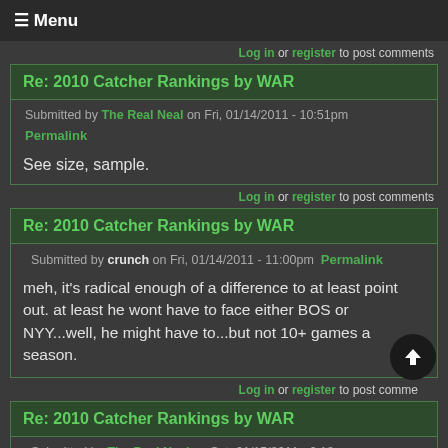≡ Menu
Log in or register to post comments
Re: 2010 Catcher Rankings by WAR
Submitted by The Real Neal on Fri, 01/14/2011 - 10:51pm
Permalink
See size, sample.
Log in or register to post comments
Re: 2010 Catcher Rankings by WAR
Submitted by crunch on Fri, 01/14/2011 - 11:00pm  Permalink
meh, it's radical enough of a difference to at least point out. at least he wont have to face either BOS or NYY...well, he might have to...but not 10+ games a season.
Log in or register to post comments
Re: 2010 Catcher Rankings by WAR
Submitted by The Real Neal on Sat, 01/15/2011 - 9:18am
Permalink